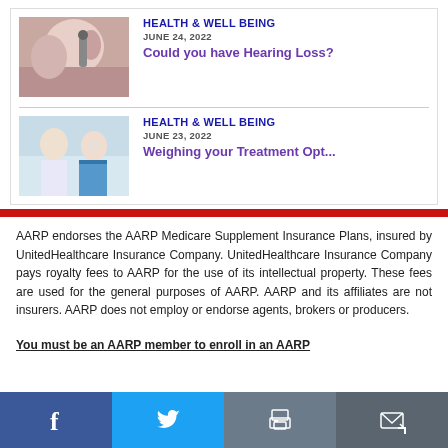HEALTH & WELL BEING
JUNE 24, 2022
Could you have Hearing Loss?
[Figure (photo): Close-up of a person having their ear examined with an otoscope]
HEALTH & WELL BEING
JUNE 23, 2022
Weighing your Treatment Opt...
[Figure (photo): Two people in medical setting, one wearing a mask, appearing to be a doctor-patient consultation]
AARP endorses the AARP Medicare Supplement Insurance Plans, insured by UnitedHealthcare Insurance Company. UnitedHealthcare Insurance Company pays royalty fees to AARP for the use of its intellectual property. These fees are used for the general purposes of AARP. AARP and its affiliates are not insurers. AARP does not employ or endorse agents, brokers or producers.
You must be an AARP member to enroll in an AARP